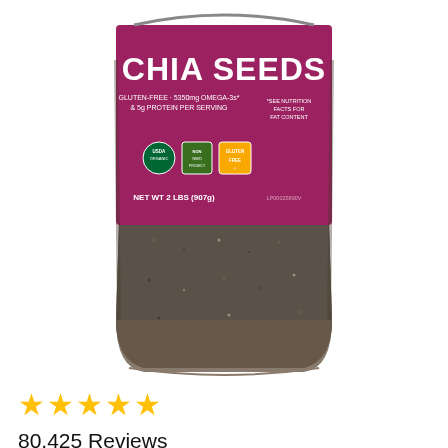[Figure (photo): Product photo of BetterBody Foods Chia Seeds container with magenta/pink label showing 'CHIA SEEDS', gluten-free, 5350mg Omega-3, 5g protein per serving, NET WT 2 LBS (907g), with certification badges including USDA Organic, Non-GMO, Gluten Free. Container is a plastic jar filled with dark chia seeds.]
★★★★★
80,425 Reviews
BetterBody Foods Organic Chia Seeds with Omega-3, Non-GMO, Gluten Free, Keto Diet Friendly, Vegan, Good Source of Fiber, 2